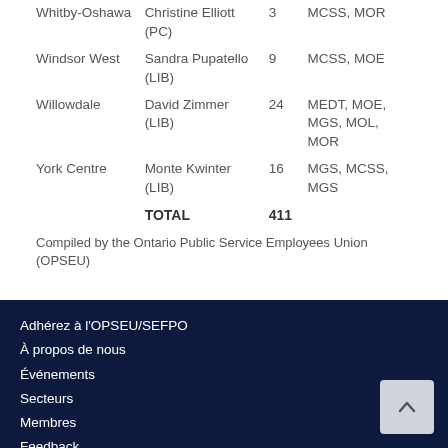| Riding | Representative | Number | Ministries |
| --- | --- | --- | --- |
| Whitby-Oshawa | Christine Elliott (PC) | 3 | MCSS, MOR |
| Windsor West | Sandra Pupatello (LIB) | 9 | MCSS, MOE |
| Willowdale | David Zimmer (LIB) | 24 | MEDT, MOE, MGS, MOL, MOR |
| York Centre | Monte Kwinter (LIB) | 16 | MGS, MCSS, MGS |
|  | TOTAL | 411 |  |
Compiled by the Ontario Public Service Employees Union (OPSEU)
Adhérez à l'OPSEU/SEFPO
À propos de nous
Événements
Secteurs
Membres
Feedback